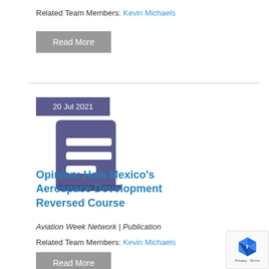Related Team Members: Kevin Michaels
Read More
[Figure (illustration): Horizontal divider line]
20 Jul 2021
[Figure (illustration): Purple document/publication icon with two white horizontal lines]
Opinion: How Mexico's Aerospace Development Reversed Course
Aviation Week Network | Publication
Related Team Members: Kevin Michaels
Read More